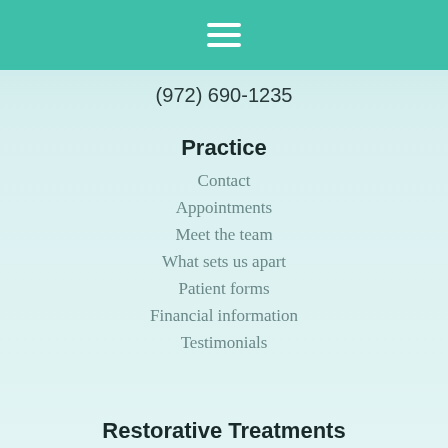☰
(972) 690-1235
Practice
Contact
Appointments
Meet the team
What sets us apart
Patient forms
Financial information
Testimonials
Restorative Treatments
Bonding
Bridges
Crowns